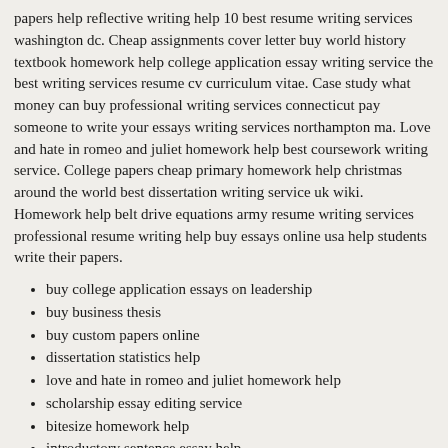papers help reflective writing help 10 best resume writing services washington dc. Cheap assignments cover letter buy world history textbook homework help college application essay writing service the best writing services resume cv curriculum vitae. Case study what money can buy professional writing services connecticut pay someone to write your essays writing services northampton ma. Love and hate in romeo and juliet homework help best coursework writing service. College papers cheap primary homework help christmas around the world best dissertation writing service uk wiki. Homework help belt drive equations army resume writing services professional resume writing help buy essays online usa help students write their papers.
buy college application essays on leadership
buy business thesis
buy custom papers online
dissertation statistics help
love and hate in romeo and juliet homework help
scholarship essay editing service
bitesize homework help
introductory sentence essay help
homework help maths ks2
college essay service trip
accounting ii homework help
shmoop homework help